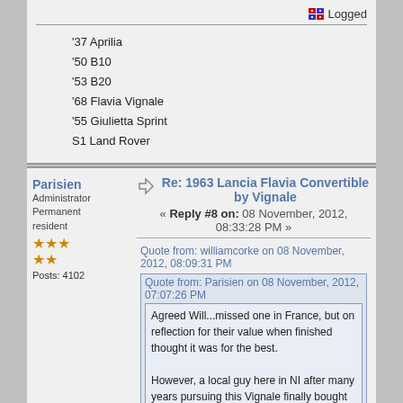Logged
'37 Aprilia
'50 B10
'53 B20
'68 Flavia Vignale
'55 Giulietta Sprint
S1 Land Rover
Re: 1963 Lancia Flavia Convertible by Vignale
« Reply #8 on: 08 November, 2012, 08:33:28 PM »
Parisien
Administrator
Permanent resident
Posts: 4102
Quote from: williamcorke on 08 November, 2012, 08:09:31 PM
Quote from: Parisien on 08 November, 2012, 07:07:26 PM
Agreed Will...missed one in France, but on reflection for their value when finished thought it was for the best.

However, a local guy here in NI after many years pursuing this Vignale finally bought it! Locally owned...and in a pretty poor state.....

http://www.maranellohouse.com/flavia.html

NI is truly the current UK centre for restoration of......basket case Lancias!!!!

P
That's quite a project. If you look at his webpage it gives a good